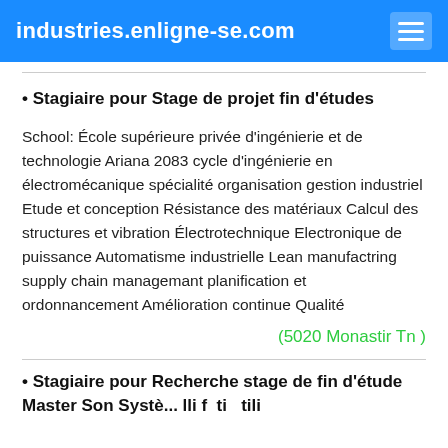industries.enligne-se.com
• Stagiaire pour Stage de projet fin d'études
School: École supérieure privée d'ingénierie et de technologie Ariana 2083 cycle d'ingénierie en électromécanique spécialité organisation gestion industriel Etude et conception Résistance des matériaux Calcul des structures et vibration Électrotechnique Electronique de puissance Automatisme industrielle Lean manufactring supply chain managemant planification et ordonnancement Amélioration continue Qualité
(5020 Monastir Tn )
• Stagiaire pour Recherche stage de fin d'étude Master Son Systè... lli f ti tili